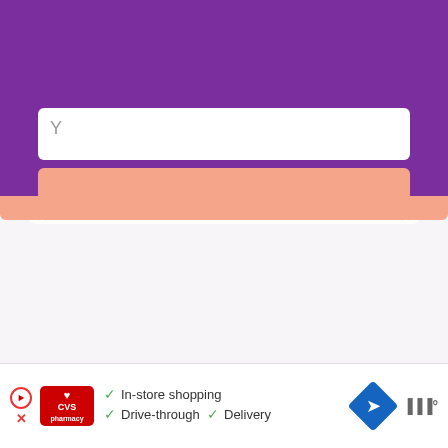[Figure (screenshot): Purple modal popup banner with close button (×) in top right, bold white heading text 'Join 28,186 sewists and get the 5 Steps to Find the Confidence to Get Sewing TODAY', a white input field with partial letter 'Y' visible, and a salmon/peach colored button below. Below the modal is a light gray page background. On the right side are UI buttons: a gray circle with upward chevron arrow, a salmon circle, a badge showing '27', and another salmon rounded shape. At the bottom is a CVS pharmacy advertisement banner showing 'In-store shopping', 'Drive-through', 'Delivery' with checkmarks, a blue navigation icon, and a weather icon.]
Join 28,186 sewists and get the 5 Steps to Find the Confidence to Get Sewing TODAY
In-store shopping Drive-through Delivery